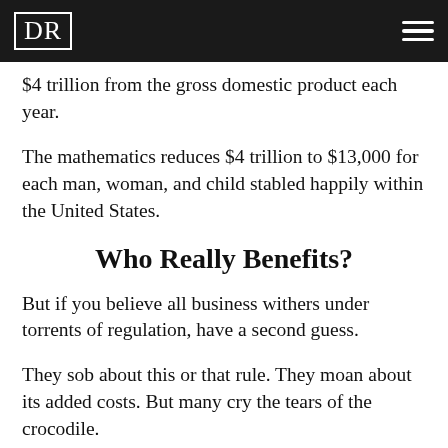DR
$4 trillion from the gross domestic product each year.
The mathematics reduces $4 trillion to $13,000 for each man, woman, and child stabled happily within the United States.
Who Really Benefits?
But if you believe all business withers under torrents of regulation, have a second guess.
They sob about this or that rule. They moan about its added costs. But many cry the tears of the crocodile.
The wealthiest businesses can absorb the added burden. Their lesser competitors cannot.